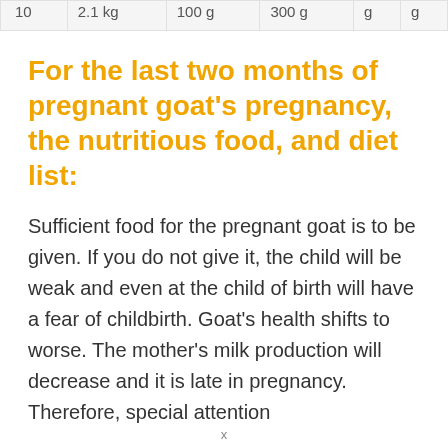| 10 | 2.1 kg | 100 g | 300 g | g | g |
For the last two months of pregnant goat's pregnancy, the nutritious food, and diet list:
Sufficient food for the pregnant goat is to be given. If you do not give it, the child will be weak and even at the child of birth will have a fear of childbirth. Goat's health shifts to worse. The mother's milk production will decrease and it is late in pregnancy. Therefore, special attention
x